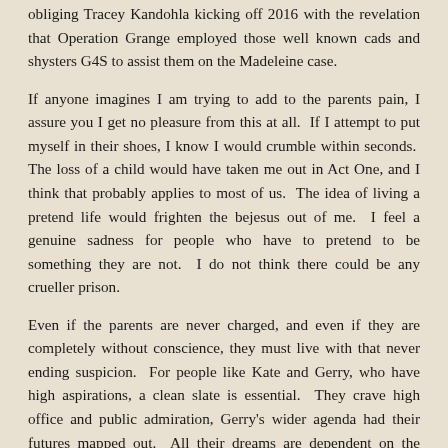obliging Tracey Kandohla kicking off 2016 with the revelation that Operation Grange employed those well known cads and shysters G4S to assist them on the Madeleine case.
If anyone imagines I am trying to add to the parents pain, I assure you I get no pleasure from this at all.  If I attempt to put myself in their shoes, I know I would crumble within seconds.  The loss of a child would have taken me out in Act One, and I think that probably applies to most of us.  The idea of living a pretend life would frighten the bejesus out of me.  I feel a genuine sadness for people who have to pretend to be something they are not.  I do not think there could be any crueller prison.
Even if the parents are never charged, and even if they are completely without conscience, they must live with that never ending suspicion.  For people like Kate and Gerry, who have high aspirations, a clean slate is essential.  They crave high office and public admiration, Gerry's wider agenda had their futures mapped out.  All their dreams are dependent on the public accepting they had nothing to do with their daughter's disappearance.  That their dreams cannot come to fruition because of this cloud that hangs over them must gnaw at them daily.  Indeed, this case is littered